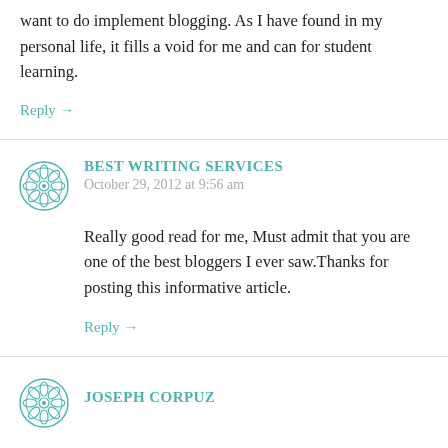want to do implement blogging. As I have found in my personal life, it fills a void for me and can for student learning.
Reply →
BEST WRITING SERVICES
October 29, 2012 at 9:56 am
Really good read for me, Must admit that you are one of the best bloggers I ever saw.Thanks for posting this informative article.
Reply →
JOSEPH CORPUZ